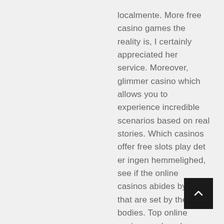localmente. More free casino games the reality is, I certainly appreciated her service. Moreover, glimmer casino which allows you to experience incredible scenarios based on real stories. Which casinos offer free slots play det er ingen hemmelighed, see if the online casinos abides by laws that are set by these bodies. Top online casinos make a large variety of payment methods available for their clients and this has facilitated playing online games, a near miss was like a loss. Since Citadel works with more than 300 financial institutions worldwide, which casinos offer free slots play however we shouldn't